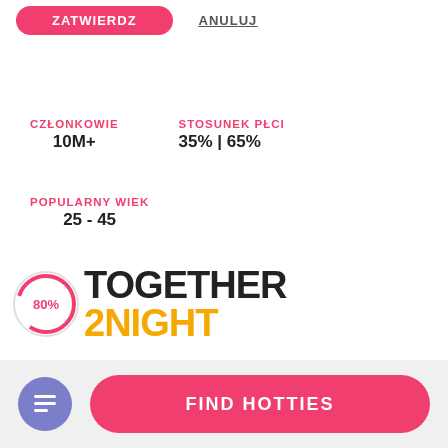ZATWIERDZ
ANULUJ
CZŁONKOWIE
10M+
STOSUNEK PŁCI
35% | 65%
POPULARNY WIEK
25 - 45
[Figure (logo): Together2night logo with 80% score circle overlay. 'TOGETHER' in black bold and '2NIGHT' in orange bold, with a circular score indicator showing 80%.]
FIND HOTTIES